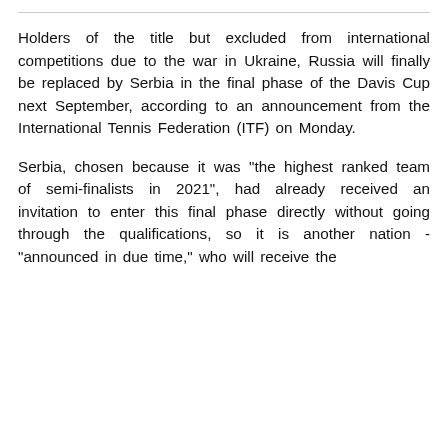Holders of the title but excluded from international competitions due to the war in Ukraine, Russia will finally be replaced by Serbia in the final phase of the Davis Cup next September, according to an announcement from the International Tennis Federation (ITF) on Monday.
Serbia, chosen because it was "the highest ranked team of semi-finalists in 2021", had already received an invitation to enter this final phase directly without going through the qualifications, so it is another nation - "announced in due time," who will receive the